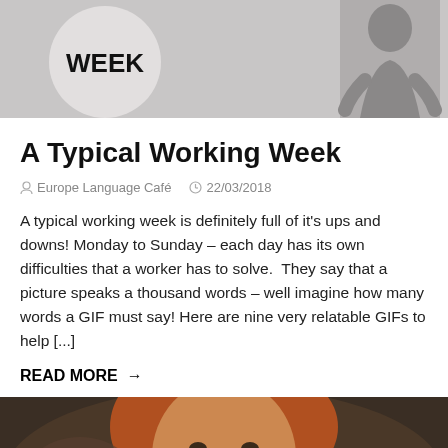[Figure (photo): Top banner image showing a circle graphic with the word WEEK and a person in the background on a grey background]
A Typical Working Week
& Europe Language Café   🕐 22/03/2018
A typical working week is definitely full of it's ups and downs! Monday to Sunday – each day has its own difficulties that a worker has to solve.  They say that a picture speaks a thousand words – well imagine how many words a GIF must say! Here are nine very relatable GIFs to help [...]
READ MORE →
[Figure (photo): Photo of a red-haired young man (Ed Sheeran) in close-up, blurred background]